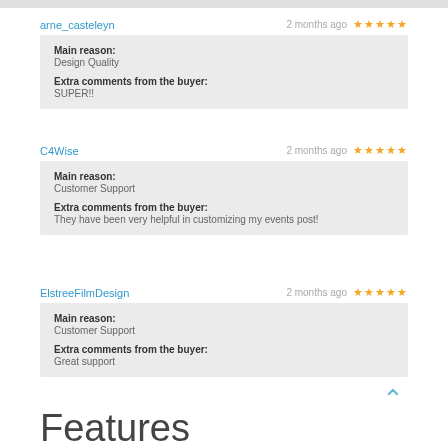arne_casteleyn | 2 months ago | ★★★★★
Main reason: Design Quality
Extra comments from the buyer: SUPER!!
C4Wise | 2 months ago | ★★★★★
Main reason: Customer Support
Extra comments from the buyer: They have been very helpful in customizing my events post!
ElstreeFilmDesign | 2 months ago | ★★★★★
Main reason: Customer Support
Extra comments from the buyer: Great support
Features